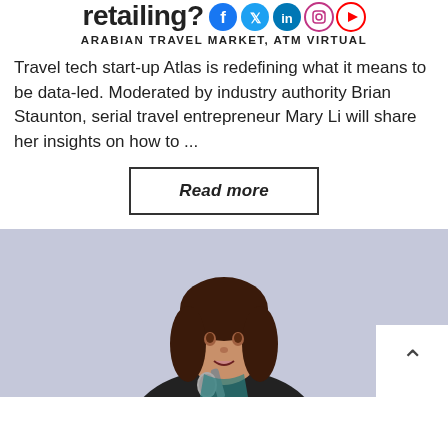retailing?
ARABIAN TRAVEL MARKET, ATM VIRTUAL
Travel tech start-up Atlas is redefining what it means to be data-led. Moderated by industry authority Brian Staunton, serial travel entrepreneur Mary Li will share her insights on how to ...
Read more
[Figure (photo): A woman speaking at a conference holding a microphone, lavender/blue background]